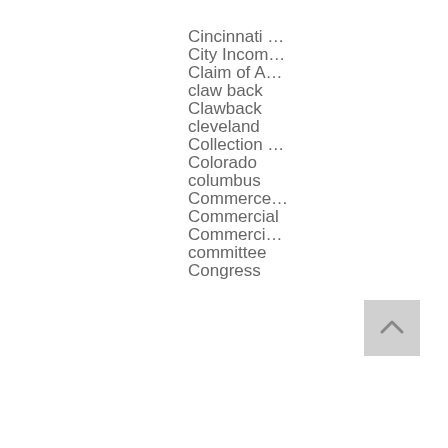Cincinnati …
City Incom…
Claim of A…
claw back
Clawback
cleveland
Collection …
Colorado
columbus
Commerce…
Commercial
Commerci…
committee
Congress